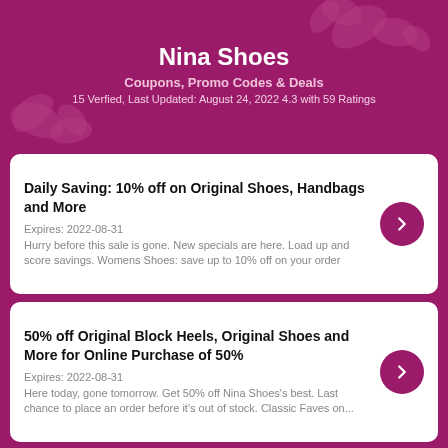Nina Shoes
Coupons, Promo Codes & Deals
15 Verfied, Last Updated: August 24, 2022 4.3 with 59 Ratings
Daily Saving: 10% off on Original Shoes, Handbags and More
Expires: 2022-08-31
Hurry before this sale is gone. New specials are here. Load up and score savings. Womens Shoes: save up to 10% off on your order
50% off Original Block Heels, Original Shoes and More for Online Purchase of 50%
Expires: 2022-08-31
Here today, gone tomorrow. Get 50% off Nina Shoes's best. Last chance to place an order before it's out of stock. Classic Faves on...